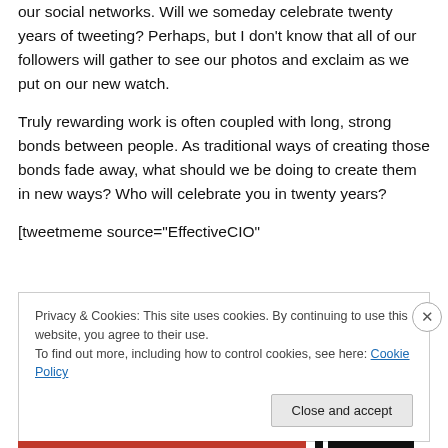our social networks.  Will we someday celebrate twenty years of tweeting?  Perhaps, but I don't know that all of our followers will gather to see our photos and exclaim as we put on our new watch.
Truly rewarding work is often coupled with long, strong bonds between people.  As traditional ways of creating those bonds fade away, what should we be doing to create them in new ways?  Who will celebrate you in twenty years?
[tweetmeme source="EffectiveCIO"
Privacy & Cookies: This site uses cookies. By continuing to use this website, you agree to their use.
To find out more, including how to control cookies, see here: Cookie Policy